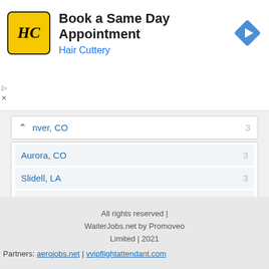[Figure (logo): Hair Cuttery advertisement banner with HC logo, title 'Book a Same Day Appointment', subtitle 'Hair Cuttery', and a navigation arrow icon]
nver, CO  3
Aurora, CO  3
Slidell, LA  3
Honolulu, HI  3
Lake Oswego, OR  3
All rights reserved | WaiterJobs.net by Promoveo Limited | 2021
Partners: aerojobs.net | vvipflightattendant.com